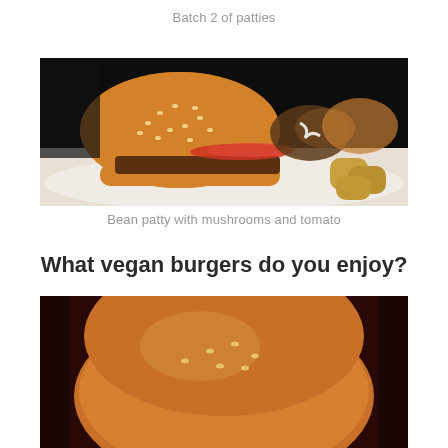Batch 2 of patties
[Figure (photo): A burger with sesame seed bun, bean patty, tomato slices, sauteed mushrooms, and a white sauce, served on a plate with roasted potatoes]
Bean patty with mushrooms and tomato
What vegan burgers do you enjoy?
[Figure (photo): Close-up of a sesame seed burger bun on a dark red background, partially cropped]